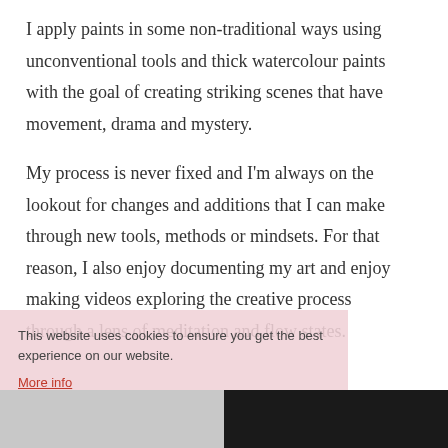I apply paints in some non-traditional ways using unconventional tools and thick watercolour paints with the goal of creating striking scenes that have movement, drama and mystery.
My process is never fixed and I'm always on the lookout for changes and additions that I can make through new tools, methods or mindsets. For that reason, I also enjoy documenting my art and enjoy making videos exploring the creative process through a lens of meditation and flow states.
This website uses cookies to ensure you get the best experience on our website. More info Got it!
Visit Tim's page for contact details and links.
[Figure (photo): Two side-by-side photos at the bottom of the page. Left photo shows a light grey/white background scene. Right photo shows a dark scene with hands visible.]